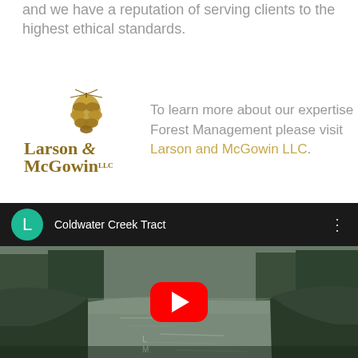and we have a reputation of serving clients to the highest ethical standards.
[Figure (logo): Larson & McGowin LLC Forest Managers & Consultants logo with pine cone]
To learn more about our expertise in Forest Management please visit Larson and McGowin LLC.
[Figure (screenshot): YouTube video thumbnail showing Coldwater Creek Tract - river scene with trees on both banks, YouTube play button overlay, channel icon L]